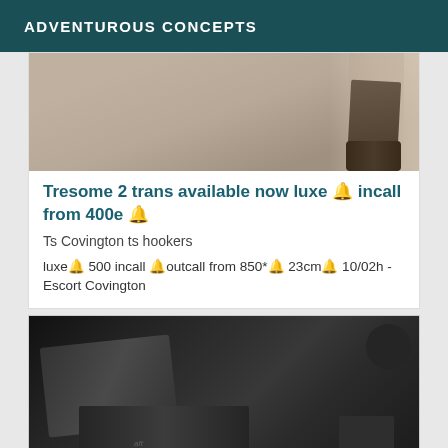ADVENTUROUS CONCEPTS
[Figure (photo): Partial view of a person's legs wearing high-heeled sandals, standing near a window with curtains]
Tresome 2 trans available now luxe 🔔 incall from 400e 🔔
Ts Covington ts hookers
luxe🔔 500 incall 🔔outcall from 850*🔔 23cm🔔 10/02h - Escort Covington
[Figure (photo): Dark monochrome photo showing what appears to be a person lying down, dark tones throughout]